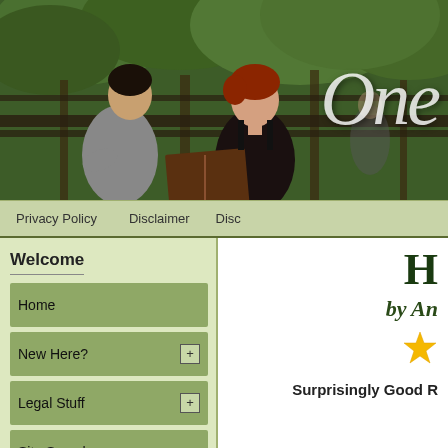[Figure (photo): Website header photo showing two people reading a book together on a park bench outdoors, with trees in background. The site logo 'One' appears in large italic serif text on the right side of the photo.]
Privacy Policy    Disclaimer    Disc
Welcome
Home
New Here?
Legal Stuff
Site Search
What's New
Follow @OneGoodBook
H
by An
[Figure (other): Gold star rating icon]
Surprisingly Good R